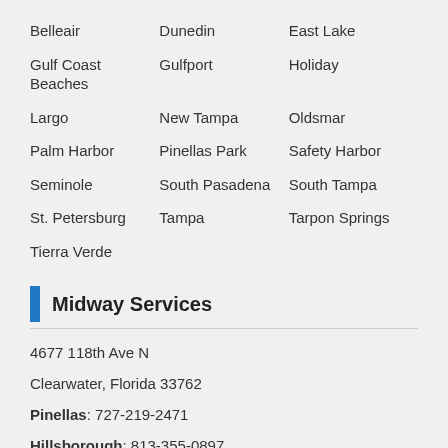Belleair
Dunedin
East Lake
Gulf Coast Beaches
Gulfport
Holiday
Largo
New Tampa
Oldsmar
Palm Harbor
Pinellas Park
Safety Harbor
Seminole
South Pasadena
South Tampa
St. Petersburg
Tampa
Tarpon Springs
Tierra Verde
Midway Services
4677 118th Ave N
Clearwater, Florida 33762
Pinellas: 727-219-2471
Hillsborough: 813-355-0897